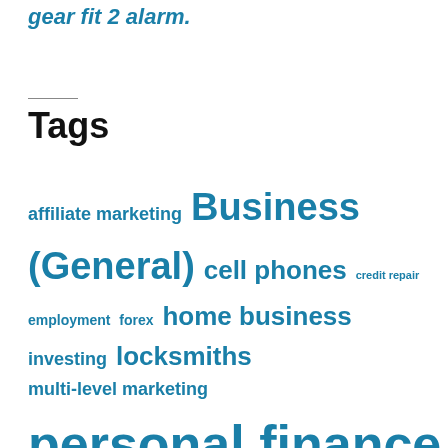gear fit 2 alarm.
Tags
affiliate marketing Business (General) cell phones credit repair employment forex home business investing locksmiths multi-level marketing personal finance real estate - buying real estate - commercial real estate - selling real estate investing